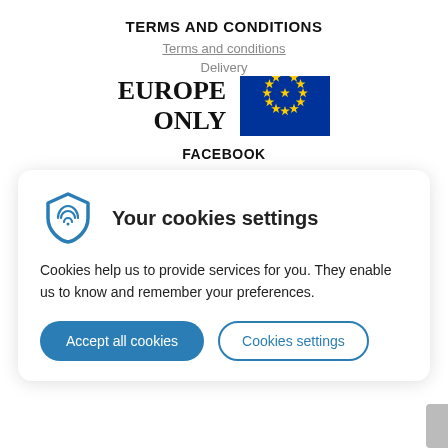TERMS AND CONDITIONS
Terms and conditions
Delivery
[Figure (illustration): EU flag (blue background with circle of 12 yellow stars) next to bold text reading EUROPE ONLY]
FACEBOOK
[Figure (screenshot): Cookie consent dialog with shield/fingerprint icon, title 'Your cookies settings', description text, and two buttons: 'Accept all cookies' and 'Cookies settings']
Your cookies settings
Cookies help us to provide services for you. They enable us to know and remember your preferences.
Accept all cookies
Cookies settings